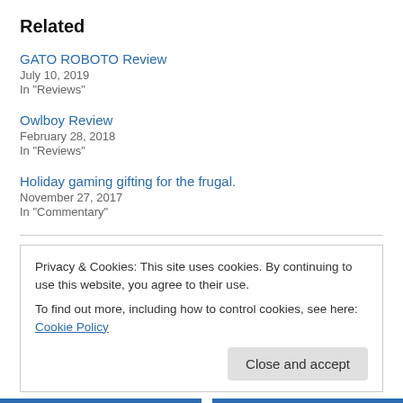Related
GATO ROBOTO Review
July 10, 2019
In "Reviews"
Owlboy Review
February 28, 2018
In "Reviews"
Holiday gaming gifting for the frugal.
November 27, 2017
In "Commentary"
Privacy & Cookies: This site uses cookies. By continuing to use this website, you agree to their use.
To find out more, including how to control cookies, see here: Cookie Policy
Close and accept